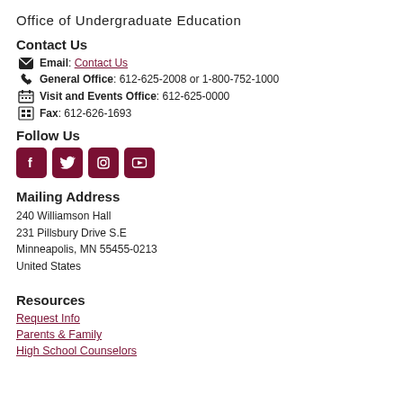Office of Undergraduate Education
Contact Us
Email: Contact Us
General Office: 612-625-2008 or 1-800-752-1000
Visit and Events Office: 612-625-0000
Fax: 612-626-1693
Follow Us
[Figure (other): Social media icons: Facebook, Twitter, Instagram, YouTube — dark red rounded square buttons]
Mailing Address
240 Williamson Hall
231 Pillsbury Drive S.E
Minneapolis, MN 55455-0213
United States
Resources
Request Info
Parents & Family
High School Counselors